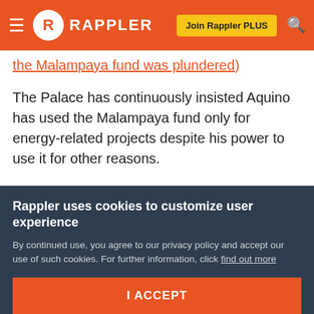RAPPLER — navigation bar with hamburger menu, logo, Join Rappler PLUS button, and search icon
the Malampaya fund was plundered)
The Palace has continuously insisted Aquino has used the Malampaya fund only for energy-related projects despite his power to use it for other reasons.
Presidential Spokesperson Edwin Lacierda has made strong statements on Aquino's use of the Malampaya fund, saying the government has “strictly interpreted that particular provision [of PD 910] as energy-related so, no one I dare say no one can question the President on how
Rappler uses cookies to customize user experience
By continued use, you agree to our privacy policy and accept our use of such cookies. For further information, click find out more
I ACCEPT